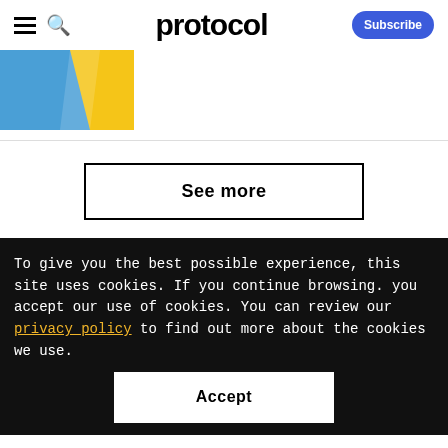protocol — Subscribe
[Figure (illustration): Partial image showing blue and yellow geometric shapes, likely a graphic for an article thumbnail]
See more
To give you the best possible experience, this site uses cookies. If you continue browsing. you accept our use of cookies. You can review our privacy policy to find out more about the cookies we use.
Accept